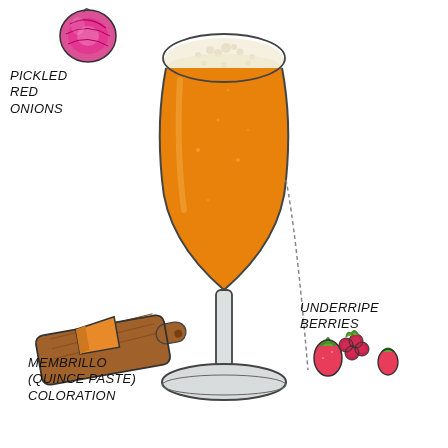[Figure (illustration): Hand-drawn illustration of a tulip beer glass filled with orange/amber beer with a foamy white head. Surrounding the glass are illustrated food/flavor descriptors: top-left shows a pickled red onion, lower-left shows a wooden cheese board with a wedge of orange cheese (membrillo/quince paste), and lower-right shows small strawberries and raspberries (underripe berries). Text labels point to each element.]
PICKLED RED ONIONS
MEMBRILLO (QUINCE PASTE) COLORATION
UNDERRIPE BERRIES